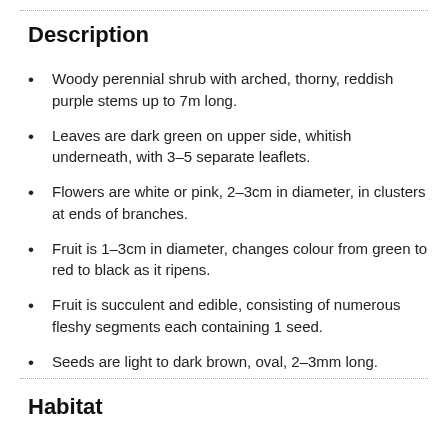Description
Woody perennial shrub with arched, thorny, reddish purple stems up to 7m long.
Leaves are dark green on upper side, whitish underneath, with 3–5 separate leaflets.
Flowers are white or pink, 2–3cm in diameter, in clusters at ends of branches.
Fruit is 1–3cm in diameter, changes colour from green to red to black as it ripens.
Fruit is succulent and edible, consisting of numerous fleshy segments each containing 1 seed.
Seeds are light to dark brown, oval, 2–3mm long.
Habitat